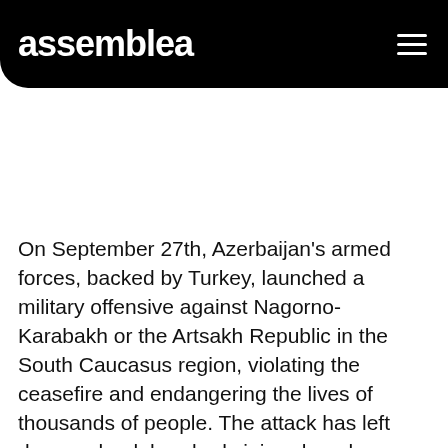assemblea
On September 27th, Azerbaijan's armed forces, backed by Turkey, launched a military offensive against Nagorno-Karabakh or the Artsakh Republic in the South Caucasus region, violating the ceasefire and endangering the lives of thousands of people. The attack has left dozens dead, hundreds injured, and more than 75.000 people—50% percent of Artsakh's population—has been forced